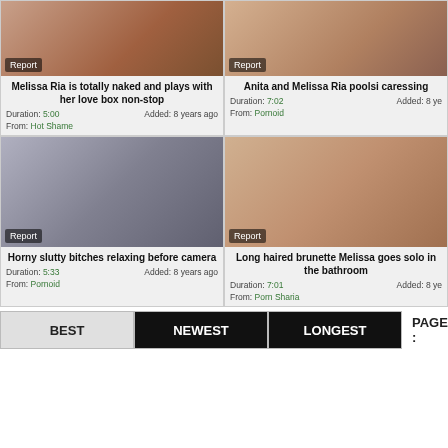[Figure (photo): Video thumbnail top-left showing adult content with Report badge]
Melissa Ria is totally naked and plays with her love box non-stop
Duration: 5:00  Added: 8 years ago  From: Hot Shame
[Figure (photo): Video thumbnail top-right showing adult content with Report badge]
Anita and Melissa Ria poolsi caressing
Duration: 7:02  Added: 8 years ago  From: Pornoid
[Figure (photo): Video thumbnail bottom-left showing adult content with Report badge]
Horny slutty bitches relaxing before camera
Duration: 5:33  Added: 8 years ago  From: Pornoid
[Figure (photo): Video thumbnail bottom-right showing adult content with Report badge]
Long haired brunette Melissa goes solo in the bathroom
Duration: 7:01  Added: 8 years ago  From: Porn Sharia
BEST  NEWEST  LONGEST  PAGES :